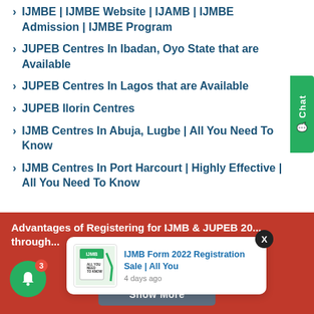IJMBE | IJMBE Website | IJAMB | IJMBE Admission | IJMBE Program
JUPEB Centres In Ibadan, Oyo State that are Available
JUPEB Centres In Lagos that are Available
JUPEB Ilorin Centres
IJMB Centres In Abuja, Lugbe | All You Need To Know
IJMB Centres In Port Harcourt | Highly Effective | All You Need To Know
Advantages of Registering for IJMB & JUPEB 20... through...
IJMB Form 2022 Registration Sale | All You
4 days ago
Show More